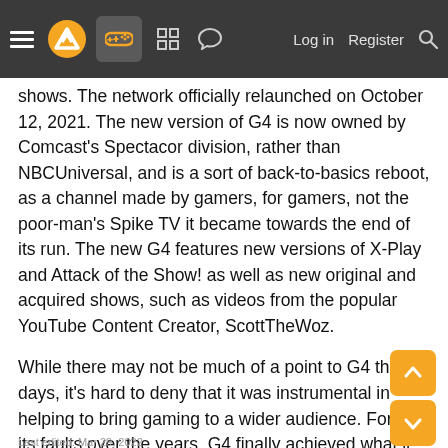≡ [logo] [gamepad icon] [grid icon] [chat icon]   Log in   Register   🔍
shows. The network officially relaunched on October 12, 2021. The new version of G4 is now owned by Comcast's Spectacor division, rather than NBCUniversal, and is a sort of back-to-basics reboot, as a channel made by gamers, for gamers, not the poor-man's Spike TV it became towards the end of its run. The new G4 features new versions of X-Play and Attack of the Show! as well as new original and acquired shows, such as videos from the popular YouTube Content Creator, ScottTheWoz.
While there may not be much of a point to G4 these days, it's hard to deny that it was instrumental in helping to bring gaming to a wider audience. For all its faults over the years, G4 finally achieved what it set out to do, be the MTV for video games, both the good and bad. G4 was one of my favorite channels as a kid, and I will always respect it for helping to fuel my childhood obsession with the medium of Video Games.
Last edited: Mar 29, 2022